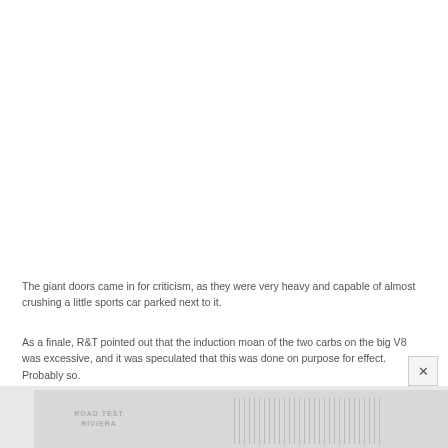The giant doors came in for criticism, as they were very heavy and capable of almost crushing a little sports car parked next to it.
As a finale, R&T pointed out that the induction moan of the two carbs on the big V8 was excessive, and it was speculated that this was done on purpose for effect. Probably so.
[Figure (other): Partially visible road test magazine page or image strip at the bottom of the page, showing text 'ROAD TEST RIVIERA' and a table-like grid layout.]